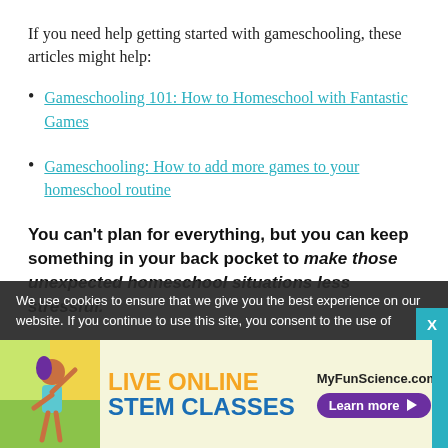If you need help getting started with gameschooling, these articles might help:
Gameschooling 101: How to Homeschool with Fantastic Games
Gameschooling: How to add more games to your homeschool routine
You can't plan for everything, but you can keep something in your back pocket to make those unexpected homeschool situations less stressful.
We use cookies to ensure that we give you the best experience on our website. If you continue to use this site, you consent to the use of
[Figure (illustration): Advertisement banner for MyFunScience.com featuring Live Online STEM Classes with a cartoon figure and Learn more button]